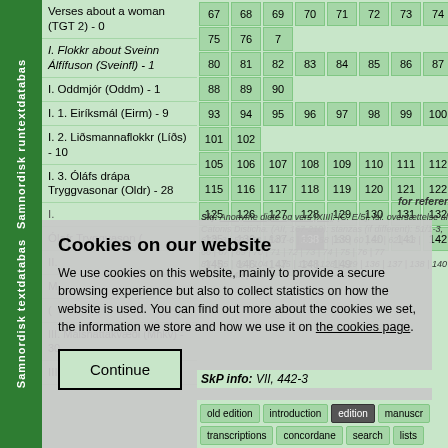Samnordisk textdatabas / Samnordisk runtextdatabas
Verses about a woman (TGT 2) - 0
I. Flokkr about Sveinn Álfífuson (Sveinfl) - 1
I. Oddmjór (Oddm) - 1
I. 1. Eiríksmál (Eirm) - 9
I. 2. Liðsmannaflokkr (Líðs) - 10
I. 3. Óláfs drápa Tryggvasonar (Oldr) - 28
| 67 | 68 | 69 | 70 | 71 | 72 | 73 | 74 | 75 | 76 | 7 |
| 80 | 81 | 82 | 83 | 84 | 85 | 86 | 87 | 88 | 89 | 9 |
| 93 | 94 | 95 | 96 | 97 | 98 | 99 | 100 | 101 | 102 |
| 105 | 106 | 107 | 108 | 109 | 110 | 111 | 112 |
| 115 | 116 | 117 | 118 | 119 | 120 | 121 | 122 |
| 125 | 126 | 127 | 128 | 129 | 130 | 131 | 132 |
| 135 | 136 | 137 | 138 | 139 | 140 | 141 | 142 |
| 145 | 146 | 147 | 148 | 149 |
for reference only: 58x 65x
Skj: Anonyme digte og vers [XIII]: [C. E/5], Isl. oversættelse af Catonis Disticha. (AII, 167-210): stanzas (if different): 51/1-3, 67/1-3 | 52 | 53 | 54/1-6 | 57 | 58 | 59 | 60 | 61 | 62 | 63 | 64 | 65 | 66 | 67 | 69 | 70 | 71 | 72 | 73 | 74 | 75 | 76 | 77 | 83 | 84 | 85 | 86 | 104 | 115 | 125 | 128 | 129 | 136 | 137 | 138 | 140 | 141 | 142 | 148
Cookies on our website
We use cookies on this website, mainly to provide a secure browsing experience but also to collect statistics on how the website is used. You can find out more about the cookies we set, the information we store and how we use it on the cookies page.
Continue
SkP info: VII, 442-3
old edition | introduction | edition | manuscript | transcriptions | concordance | search | lists